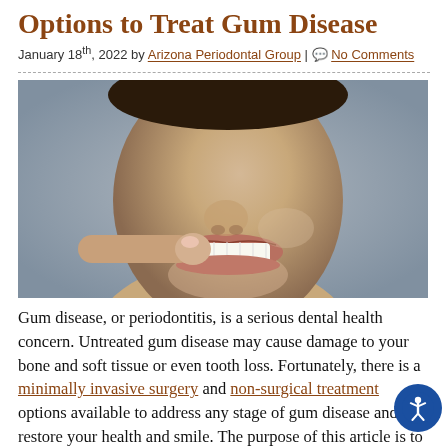Options to Treat Gum Disease
January 18th, 2022 by Arizona Periodontal Group | No Comments
[Figure (photo): Close-up photo of a smiling person pointing to their teeth with their index finger, wearing a white top, against a gray background.]
Gum disease, or periodontitis, is a serious dental health concern. Untreated gum disease may cause damage to your bone and soft tissue or even tooth loss. Fortunately, there is a minimally invasive surgery and non-surgical treatment options available to address any stage of gum disease and restore your health and smile. The purpose of this article is to provide an